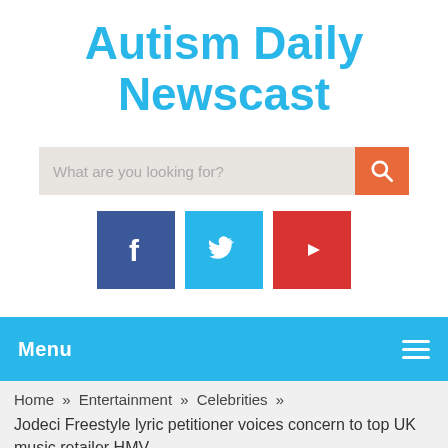Autism Daily Newscast
[Figure (screenshot): Search bar with placeholder text 'What are you looking for?' and an orange search button with magnifying glass icon]
[Figure (screenshot): Social media icons: Facebook (dark blue), Twitter (light blue), YouTube (red)]
Menu
Home » Entertainment » Celebrities »
Jodeci Freestyle lyric petitioner voices concern to top UK music retailer HMV